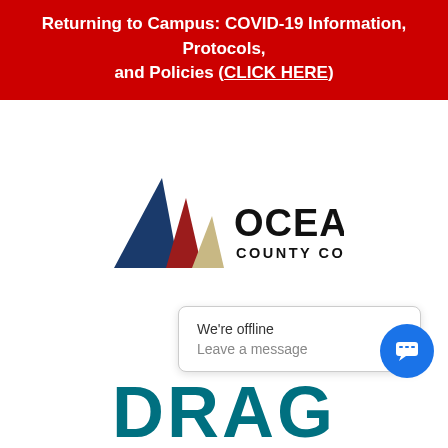Returning to Campus: COVID-19 Information, Protocols, and Policies (CLICK HERE)
[Figure (logo): Ocean County College logo with three sailboat-shaped triangles in blue, red, and tan/beige colors, followed by the text OCEAN COUNTY COLLEGE]
We're offline
Leave a message
DRAG